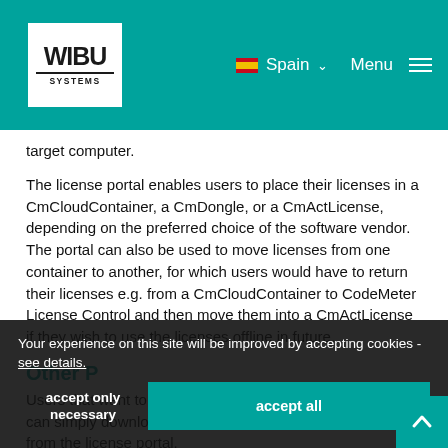WIBU SYSTEMS — Spain — Menu
target computer.
The license portal enables users to place their licenses in a CmCloudContainer, a CmDongle, or a CmActLicense, depending on the preferred choice of the software vendor. The portal can also be used to move licenses from one container to another, for which users would have to return their licenses e.g. from a CmCloudContainer to CodeMeter License Control and then move them into a CmActLicense if they wish to use the licenses offline in future.
Other P
Users that want to use their license on another computer can simply download or import their credential file directly from the license portal.
Your experience on this site will be improved by accepting cookies - see details.
accept only necessary
accept all